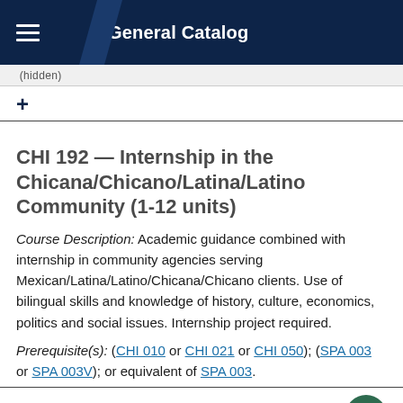General Catalog
CHI 192 — Internship in the Chicana/Chicano/Latina/Latino Community (1-12 units)
Course Description: Academic guidance combined with internship in community agencies serving Mexican/Latina/Latino/Chicana/Chicano clients. Use of bilingual skills and knowledge of history, culture, economics, politics and social issues. Internship project required.
Prerequisite(s): (CHI 010 or CHI 021 or CHI 050); (SPA 003 or SPA 003V); or equivalent of SPA 003.